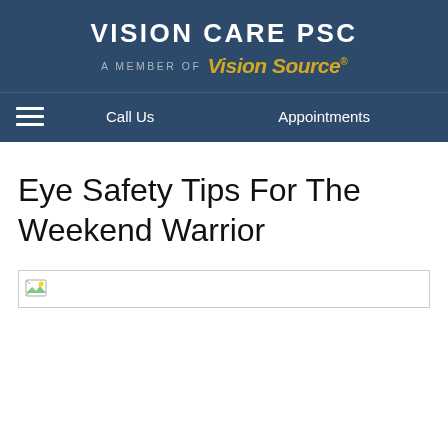VISION CARE PSC — A MEMBER OF Vision Source
Call Us | Appointments
Eye Safety Tips For The Weekend Warrior
[Figure (photo): Broken image placeholder for an article image related to eye safety tips]